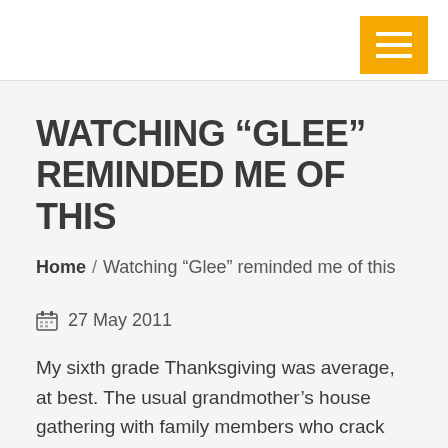WATCHING “GLEE” REMINDED ME OF THIS
Home / Watching “Glee” reminded me of this
27 May 2011
My sixth grade Thanksgiving was average, at best. The usual grandmother’s house gathering with family members who crack puns at the